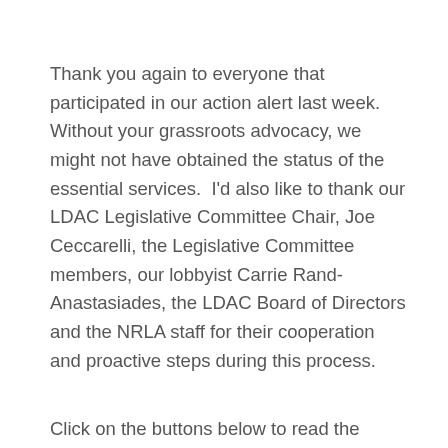Thank you again to everyone that participated in our action alert last week.  Without your grassroots advocacy, we might not have obtained the status of the essential services.  I'd also like to thank our LDAC Legislative Committee Chair, Joe Ceccarelli, the Legislative Committee members, our lobbyist Carrie Rand-Anastasiades, the LDAC Board of Directors and the NRLA staff for their cooperation and proactive steps during this process.
Click on the buttons below to read the Governor's executive order 7H on essential services or the DECD's essential services guidance document that clarified essential service status for the LBM industry. If you have any questions, please let me know.  Stay safe and be healthy.